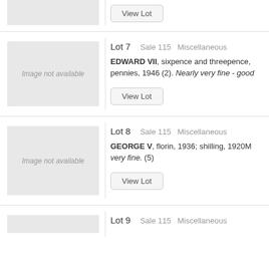[Figure (photo): Image not available placeholder (partial, top of page)]
View Lot
Lot 7   Sale 115   Miscellaneous
[Figure (photo): Image not available]
EDWARD VII, sixpence and threepence, pennies, 1946 (2). Nearly very fine - good
View Lot
Lot 8   Sale 115   Miscellaneous
[Figure (photo): Image not available]
GEORGE V, florin, 1936; shilling, 1920M very fine. (5)
View Lot
Lot 9   Sale 115   Miscellaneous
[Figure (photo): Image not available (partial, bottom of page)]